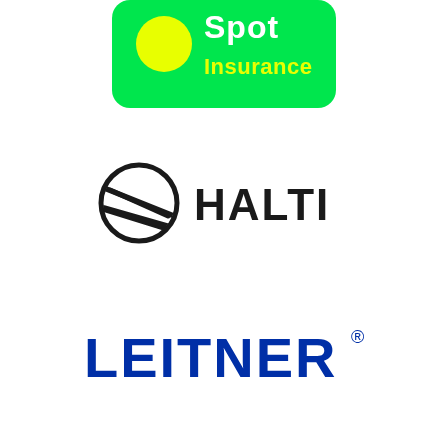[Figure (logo): Spot Insurance logo: green rounded rectangle background with yellow circle and white text 'Spot Insurance']
[Figure (logo): Halti logo: black circle with geometric slash lines forming a face/visor shape, followed by bold black text 'HALTI']
[Figure (logo): Leitner logo: bold dark blue capital letters 'LEITNER' with registered trademark symbol]